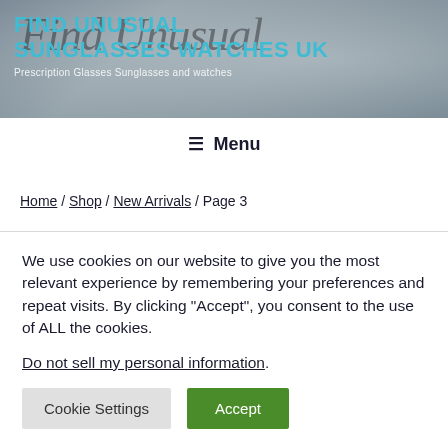[Figure (photo): Website header banner with decorative script font overlay and 'Find Unusual Sunglasses Watches UK' title in cyan/teal bold text, with subtitle 'Prescription Glasses Sunglasses and watches']
☰ Menu
Home / Shop / New Arrivals / Page 3
We use cookies on our website to give you the most relevant experience by remembering your preferences and repeat visits. By clicking "Accept", you consent to the use of ALL the cookies.
Do not sell my personal information.